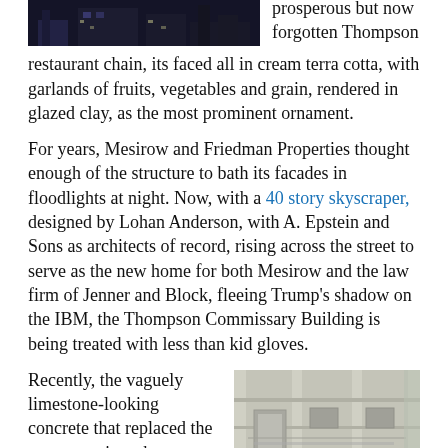[Figure (photo): Dark nighttime photo of a building facade]
prosperous but now forgotten Thompson restaurant chain, its faced all in cream terra cotta, with garlands of fruits, vegetables and grain, rendered in glazed clay, as the most prominent ornament.
For years, Mesirow and Friedman Properties thought enough of the structure to bath its facades in floodlights at night. Now, with a 40 story skyscraper, designed by Lohan Anderson, with A. Epstein and Sons as architects of record, rising across the street to serve as the new home for both Mesirow and the law firm of Jenner and Block, fleeing Trump's shadow on the IBM, the Thompson Commissary Building is being treated with less than kid gloves.
Recently, the vaguely limestone-looking concrete that replaced the terra cotta just above sidewalk level is being replaced, in turn, by slabs of polished granite. And while you'd think a finely finished stone would
[Figure (photo): Close-up photo of a stone building facade showing limestone or granite exterior wall detail]